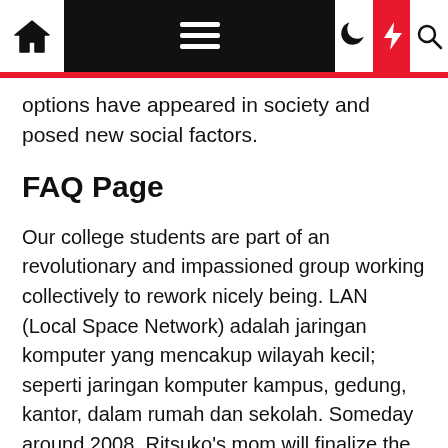Navigation bar with home, menu, moon, flash, and search icons
options have appeared in society and posed new social factors.
FAQ Page
Our college students are part of an revolutionary and impassioned group working collectively to rework nicely being. LAN (Local Space Network) adalah jaringan komputer yang mencakup wilayah kecil; seperti jaringan komputer kampus, gedung, kantor, dalam rumah dan sekolah. Someday around 2008, Ritsuko's mom will finalize the technology and add her personality as a woman, a scientist, and a mother into three supercomputers. 3 4 5 6 CNET initially produced content material for radio and television in addition to its website and now uses new media distribution strategies by its Web tv